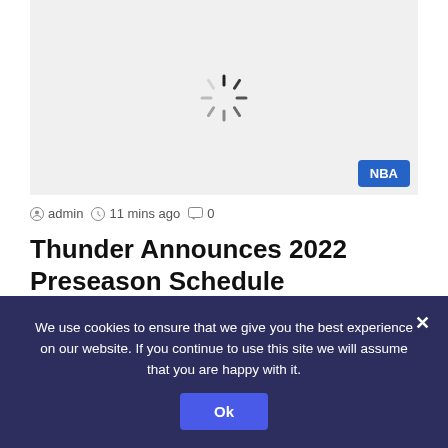[Figure (photo): Loading spinner / placeholder image area with NBA badge in bottom-right corner]
admin  11 mins ago  0
Thunder Announces 2022 Preseason Schedule
OKLAHOMA CITY, August 25, 2022 – The Oklahoma City Thunder has announced its complete 2022 preseason schedule today. The
We use cookies to ensure that we give you the best experience on our website. If you continue to use this site we will assume that you are happy with it.